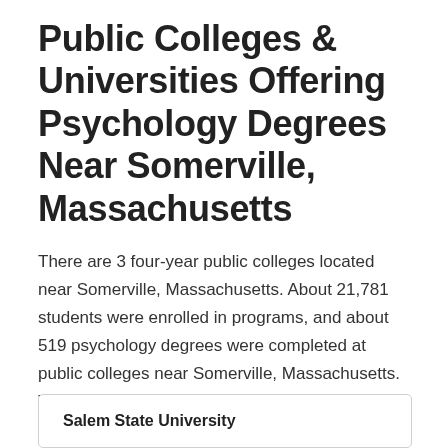Public Colleges & Universities Offering Psychology Degrees Near Somerville, Massachusetts
There are 3 four-year public colleges located near Somerville, Massachusetts. About 21,781 students were enrolled in programs, and about 519 psychology degrees were completed at public colleges near Somerville, Massachusetts. Tuition shown reflects in-state rates.
Salem State University